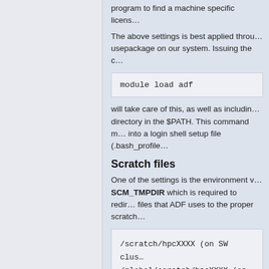program to find a machine specific license.
The above settings is best applied through usepackage on our system. Issuing the
module load adf
will take care of this, as well as including directory in the $PATH. This command must be placed into a login shell setup file (.bash_profile
Scratch files
One of the settings is the environment variable SCM_TMPDIR which is required to redirect files that ADF uses to the proper scratch
/scratch/hpcXXXX (on SW cluster)
/global/scratch/hpcXXXX (on
where hpcXXXX stands for your username.